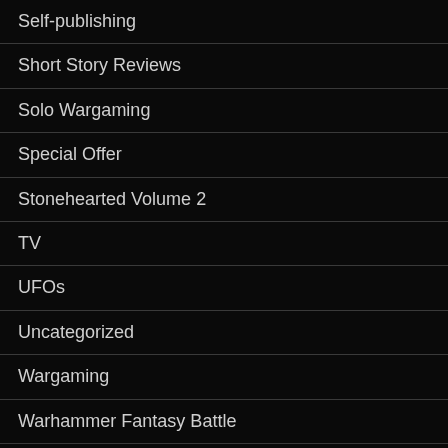Self-publishing
Short Story Reviews
Solo Wargaming
Special Offer
Stonehearted Volume 2
TV
UFOs
Uncategorized
Wargaming
Warhammer Fantasy Battle
Warhammer Fantasy Roleplay
Weird and Wonderful
World Building